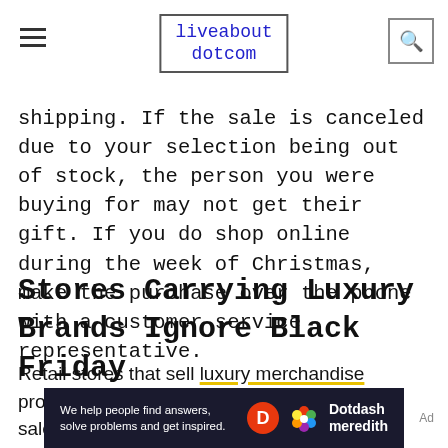liveabout dotcom
shipping. If the sale is canceled due to your selection being out of stock, the person you were buying for may not get their gift. If you do shop online during the week of Christmas, make the purchase over the phone with a customer service representative.
Stores Carrying Luxury Brands Ignore Black Friday
Retail stores that sell luxury merchandise promote Black Friday, but not always with big sale ads or
[Figure (other): Dotdash Meredith advertisement banner: 'We help people find answers, solve problems and get inspired.' with Dotdash Meredith logo]